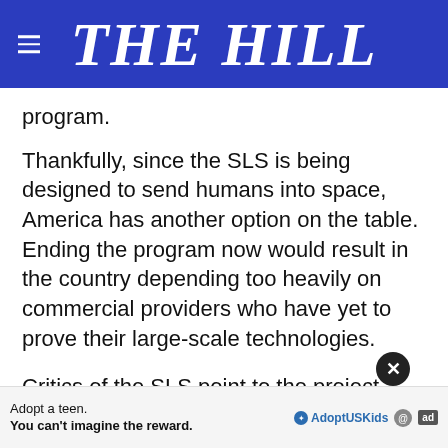THE HILL
program.
Thankfully, since the SLS is being designed to send humans into space, America has another option on the table. Ending the program now would result in the country depending too heavily on commercial providers who have yet to prove their large-scale technologies.
Critics of the SLS point to the project being behind schedule and over budget. These detractors seem to condemn SLS as a white elephant...in's promises with their up-and-coming rocket